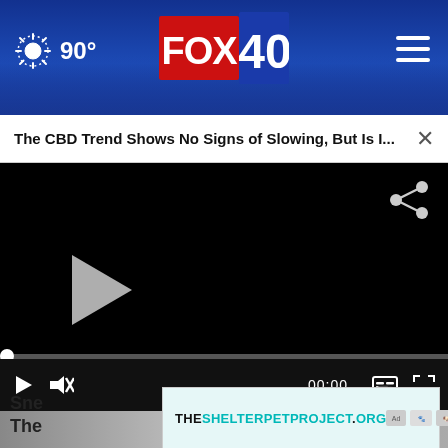FOX 40 — 90° weather, hamburger menu
The CBD Trend Shows No Signs of Slowing, But Is I...
[Figure (screenshot): Video player with black frame, play button, progress bar, controls showing 00:00 timecode, mute and fullscreen buttons, and share icon]
[Figure (photo): Article thumbnail image below video player]
Sne
The
[Figure (infographic): Advertisement banner: THESHELTERPETPROJECT.ORG with ad choice and partner logos]